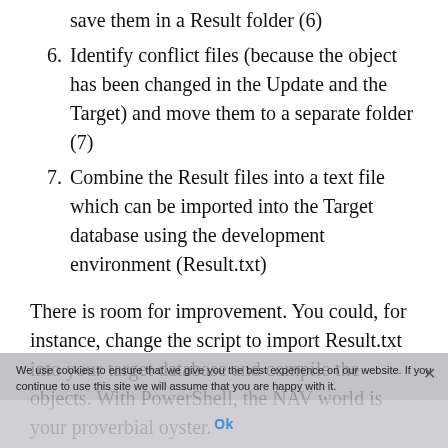save them in a Result folder (6)
6. Identify conflict files (because the object has been changed in the Update and the Target) and move them to a separate folder (7)
7. Combine the Result files into a text file which can be imported into the Target database using the development environment (Result.txt)
There is room for improvement. You could, for instance, change the script to import Result.txt into your target database and compile the objects. With PowerShell, the NAV world is your proverbial oyster.
We use cookies to ensure that we give you the best experience on our website. If you continue to use this site we will assume that you are happy with it.
Ok